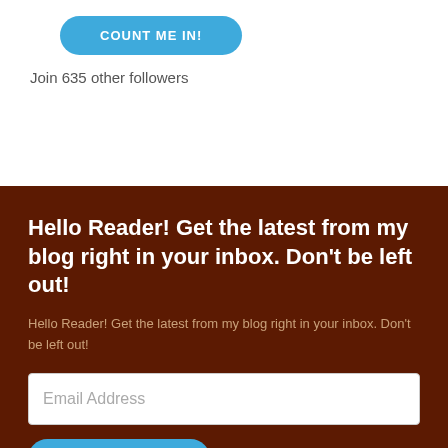[Figure (other): Blue rounded button with text COUNT ME IN!]
Join 635 other followers
Hello Reader! Get the latest from my blog right in your inbox. Don't be left out!
Hello Reader! Get the latest from my blog right in your inbox. Don't be left out!
[Figure (other): Email Address input field]
[Figure (other): Blue rounded button with text COUNT ME IN!]